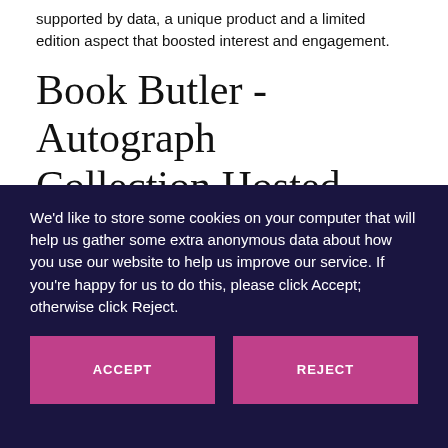supported by data, a unique product and a limited edition aspect that boosted interest and engagement.
Book Butler - Autograph Collection Hosted
We'd like to store some cookies on your computer that will help us gather some extra anonymous data about how you use our website to help us improve our service. If you're happy for us to do this, please click Accept; otherwise click Reject.
ACCEPT
REJECT